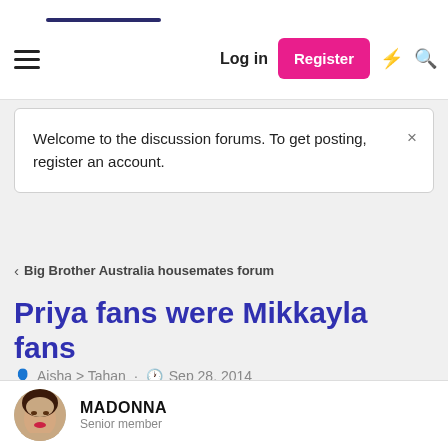Log in | Register
Welcome to the discussion forums. To get posting, register an account.
Big Brother Australia housemates forum
Priya fans were Mikkayla fans
Aisha > Tahan · Sep 28, 2014
MADONNA